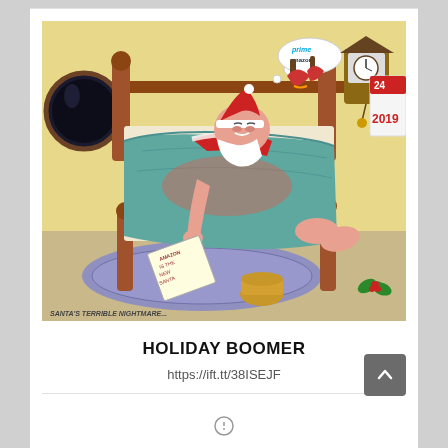[Figure (illustration): A humorous watercolor cartoon titled 'Santa's Terrible Nightmare' showing Santa Claus sleeping in a wooden bed covered by a teal/blue blanket, with his feet sticking out. A thought bubble shows the Amazon Prime logo. On the wall hang a cuckoo clock showing the time, a red wall lamp, and a calendar showing '24 2019'. A round dark window is on the left. On the floor is a purple rug with a sign reading 'Amazon is the new Santa' and a ceramic pot. Holly with berries is in the corner. The caption at the bottom reads 'SANTA'S TERRIBLE NIGHTMARE...']
HOLIDAY BOOMER
https://ift.tt/38ISEJF